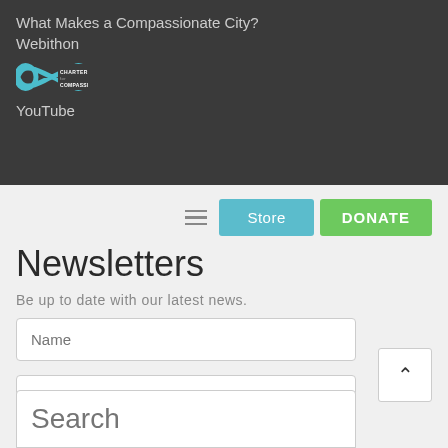What Makes a Compassionate City?
Webithon
[Figure (logo): Charter for Compassion logo with infinity symbol in teal and text CHARTER for COMPASSION]
YouTube
Store
DONATE
Newsletters
Be up to date with our latest news.
Name
Email Address
Phone
Select Country
Search